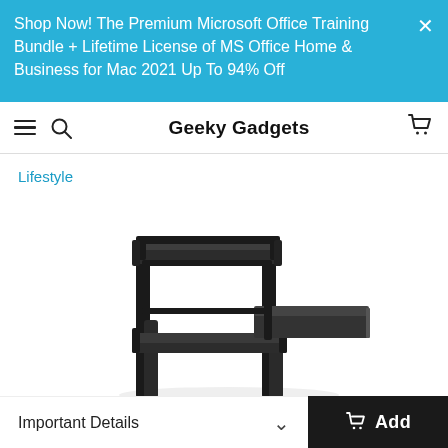Shop Now! The Premium Microsoft Office Training Bundle + Lifetime License of MS Office Home & Business for Mac 2021 Up To 94% Off
Geeky Gadgets
Lifestyle
[Figure (photo): A black metal two-tier computer/printer stand with a slide-out keyboard tray, photographed against white background]
Important Details
Add